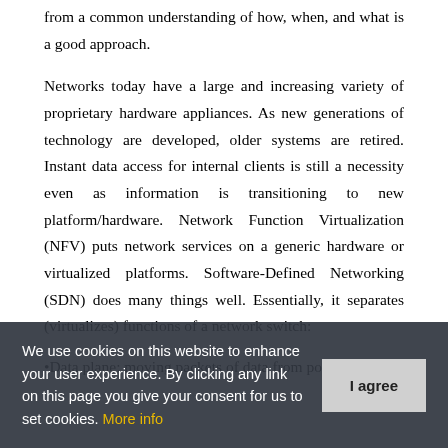from a common understanding of how, when, and what is a good approach.
Networks today have a large and increasing variety of proprietary hardware appliances. As new generations of technology are developed, older systems are retired. Instant data access for internal clients is still a necessity even as information is transitioning to new platform/hardware. Network Function Virtualization (NFV) puts network services on a generic hardware or virtualized platforms. Software-Defined Networking (SDN) does many things well. Essentially, it separates (virtualizes) functions of a network switch:
•Data plane: moving packets of data from points A to
We use cookies on this website to enhance your user experience. By clicking any link on this page you give your consent for us to set cookies. More info